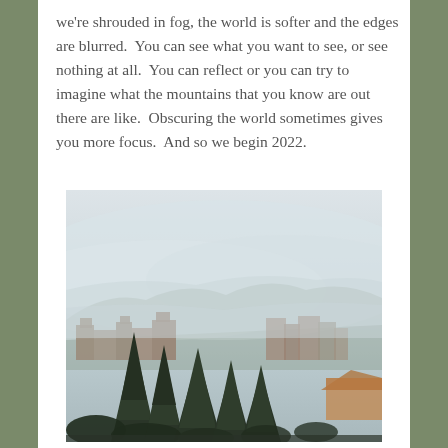we're shrouded in fog, the world is softer and the edges are blurred.  You can see what you want to see, or see nothing at all.  You can reflect or you can try to imagine what the mountains that you know are out there are like.  Obscuring the world sometimes gives you more focus.  And so we begin 2022.
[Figure (photo): A foggy landscape photograph showing a hillside town with stone buildings partially obscured by thick fog. Dark evergreen trees are visible in the foreground, with the buildings and hillside fading into the mist above.]